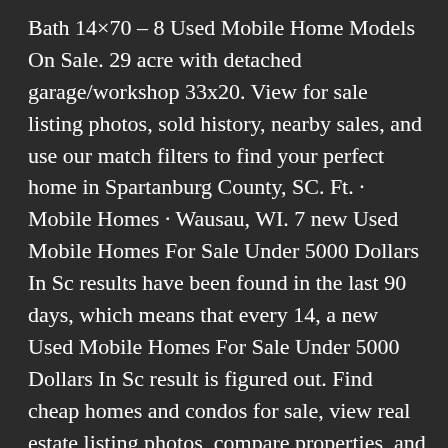Bath 14×70 – 8 Used Mobile Home Models On Sale. 29 acre with detached garage/workshop 33x20. View for sale listing photos, sold history, nearby sales, and use our match filters to find your perfect home in Spartanburg County, SC. Ft. · Mobile Homes · Wausau, WI. 7 new Used Mobile Homes For Sale Under 5000 Dollars In Sc results have been found in the last 90 days, which means that every 14, a new Used Mobile Homes For Sale Under 5000 Dollars In Sc result is figured out. Find cheap homes and condos for sale, view real estate listing photos, compare properties, and more. 693500 below average. Real Estate Details: 7 New and Used Mobile Homes in Greenville, SC. On Lot Now! 1921 Augusta Road. In Sumter Area, a new modular home is valued between $31,000 and $137,000. has been in business in Vicksburg, MS for 31 years. Cheap Homes For Sale in Oconee County, SC 28 listings. 3 Bed. 1978 SC